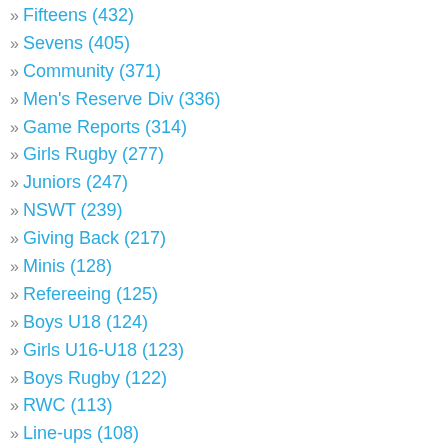Fifteens (432)
Sevens (405)
Community (371)
Men's Reserve Div (336)
Game Reports (314)
Girls Rugby (277)
Juniors (247)
NSWT (239)
Giving Back (217)
Minis (128)
Refereeing (125)
Boys U18 (124)
Girls U16-U18 (123)
Boys Rugby (122)
RWC (113)
Line-ups (108)
Fundraiser (106)
Coaching (89)
Men's Second Div (65)